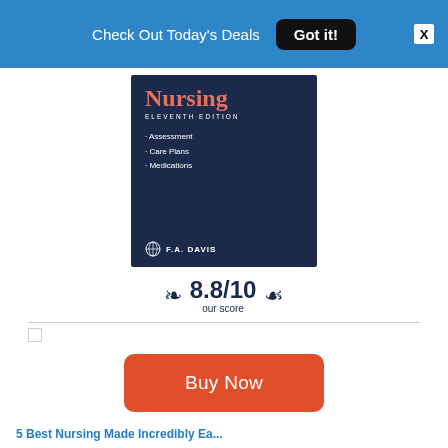Check Out Today's Deals  Got it!  X
[Figure (illustration): Book cover of Nursing Eleventh Edition by F.A. Davis, dark navy background with salmon/orange title text, listing Assessment, Care Plans, Medications]
8.8/10 our score
Buy Now
5 Best Nursing Made Incredibly Easy...